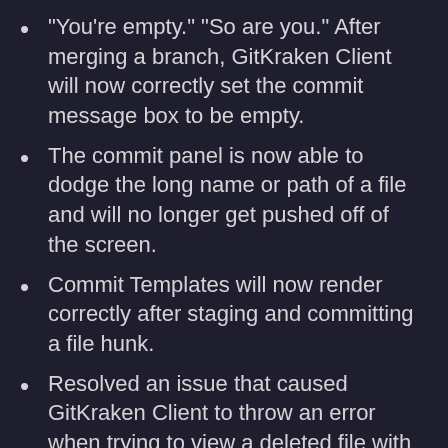“You’re empty.” “So are you.” After merging a branch, GitKraken Client will now correctly set the commit message box to be empty.
The commit panel is now able to dodge the long name or path of a file and will no longer get pushed off of the screen.
Commit Templates will now render correctly after staging and committing a file hunk.
Resolved an issue that caused GitKraken Client to throw an error when trying to view a deleted file with a missing parent folder.
Sometimes history needs to repeat itself, so we resolved an issue that prevented users from copying more than 67 lines of a file.